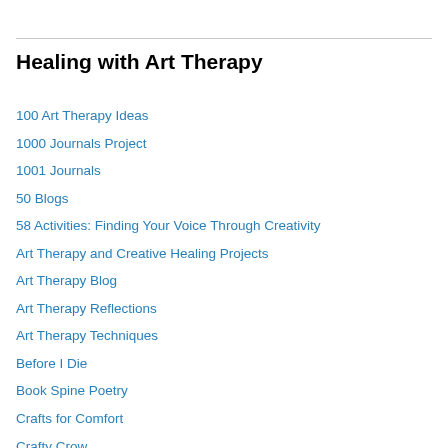Healing with Art Therapy
100 Art Therapy Ideas
1000 Journals Project
1001 Journals
50 Blogs
58 Activities: Finding Your Voice Through Creativity
Art Therapy and Creative Healing Projects
Art Therapy Blog
Art Therapy Reflections
Art Therapy Techniques
Before I Die
Book Spine Poetry
Crafts for Comfort
Crafty Crow
Creative Therapy Cooperative Blog
Daily Dose of Imagery
Daisy Yellow